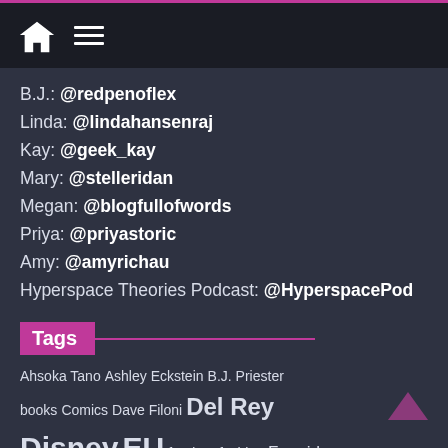Navigation bar with home and menu icons
B.J.: @redpenoflex
Linda: @lindahansenraj
Kay: @geek_kay
Mary: @stelleridan
Megan: @blogfullofwords
Priya: @priyastoric
Amy: @amyrichau
Hyperspace Theories Podcast: @HyperspacePod
Tags
Ahsoka Tano Ashley Eckstein B.J. Priester books Comics Dave Filoni Del Rey Disney EU fandom fashion Fangirls Fangirls Around the Web Fangirls Going Rogue fashion geek fashion GeekGirlCon Geek Kay George Lucas Hard Universe H...